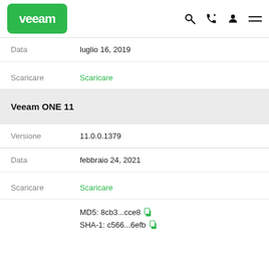[Figure (logo): Veeam logo — white VEEAM text on green rounded rectangle]
Data    luglio 16, 2019
Scaricare    Scaricare
Veeam ONE 11
Versione    11.0.0.1379
Data    febbraio 24, 2021
Scaricare    Scaricare
MD5: 8cb3...cce8
SHA-1: c566...6efb